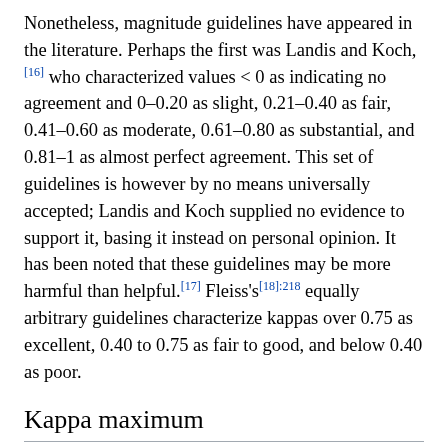Nonetheless, magnitude guidelines have appeared in the literature. Perhaps the first was Landis and Koch,[16] who characterized values < 0 as indicating no agreement and 0–0.20 as slight, 0.21–0.40 as fair, 0.41–0.60 as moderate, 0.61–0.80 as substantial, and 0.81–1 as almost perfect agreement. This set of guidelines is however by no means universally accepted; Landis and Koch supplied no evidence to support it, basing it instead on personal opinion. It has been noted that these guidelines may be more harmful than helpful.[17] Fleiss's[18]:218 equally arbitrary guidelines characterize kappas over 0.75 as excellent, 0.40 to 0.75 as fair to good, and below 0.40 as poor.
Kappa maximum
Kappa assumes its theoretical maximum value of 1 only when both observers distribute codes the same, that is, when corresponding row and column sums are identical. Anything less is less than perfect agreement. Still, the